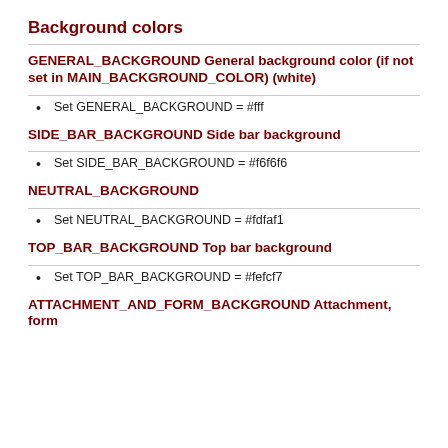Background colors
GENERAL_BACKGROUND General background color (if not set in MAIN_BACKGROUND_COLOR) (white)
Set GENERAL_BACKGROUND = #fff
SIDE_BAR_BACKGROUND Side bar background
Set SIDE_BAR_BACKGROUND = #f6f6f6
NEUTRAL_BACKGROUND
Set NEUTRAL_BACKGROUND = #fdfaf1
TOP_BAR_BACKGROUND Top bar background
Set TOP_BAR_BACKGROUND = #fefcf7
ATTACHMENT_AND_FORM_BACKGROUND Attachment, form